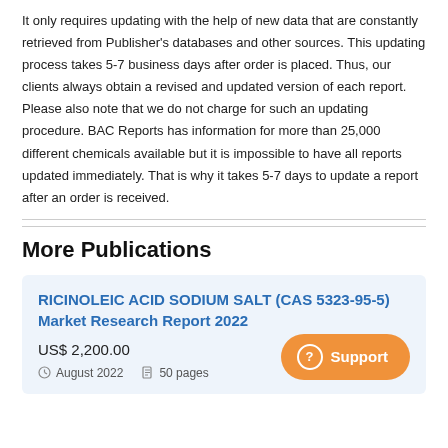It only requires updating with the help of new data that are constantly retrieved from Publisher's databases and other sources. This updating process takes 5-7 business days after order is placed. Thus, our clients always obtain a revised and updated version of each report. Please also note that we do not charge for such an updating procedure. BAC Reports has information for more than 25,000 different chemicals available but it is impossible to have all reports updated immediately. That is why it takes 5-7 days to update a report after an order is received.
More Publications
RICINOLEIC ACID SODIUM SALT (CAS 5323-95-5) Market Research Report 2022
US$ 2,200.00
August 2022   50 pages